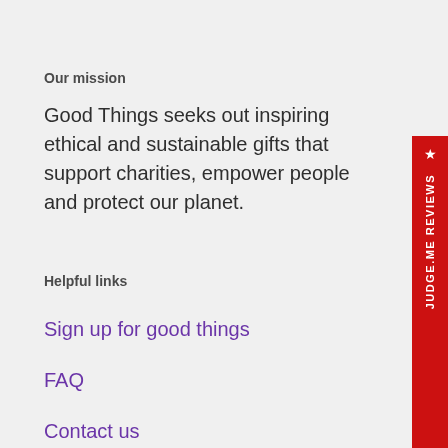Our mission
Good Things seeks out inspiring ethical and sustainable gifts that support charities, empower people and protect our planet.
Helpful links
Sign up for good things
FAQ
Contact us